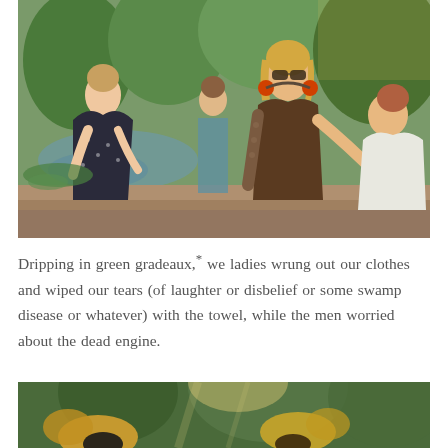[Figure (photo): Outdoor photo of several women near a body of water surrounded by trees and greenery. The central figure is a woman with blonde hair wearing sunglasses and a brown long-sleeve top with orange ear protection around her neck, leaning forward. To the left is a woman in a dark floral dress, and to the right is a person in a white shirt bending down.]
Dripping in green gradeaux,* we ladies wrung out our clothes and wiped our tears (of laughter or disbelief or some swamp disease or whatever) with the towel, while the men worried about the dead engine.
[Figure (photo): Partial outdoor photo showing people with blonde hair and dark objects, trees visible in background with sunlight filtering through.]